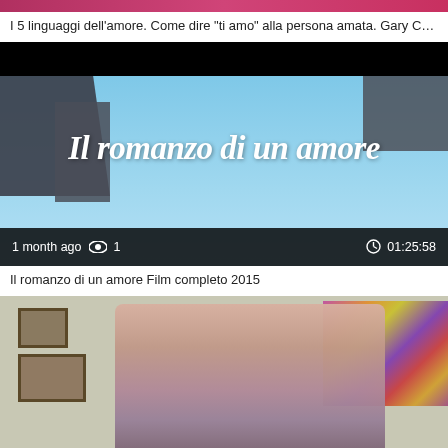[Figure (screenshot): Top portion of a video thumbnail showing pink/red gradient image crop]
I 5 linguaggi dell’amore. Come dire “ti amo” alla persona amata. Gary C…
[Figure (screenshot): Video thumbnail for 'Il romanzo di un amore' showing title text over sky background with buildings, metadata bar showing '1 month ago', 1 view, duration 01:25:58]
Il romanzo di un amore Film completo 2015
[Figure (photo): Photo showing two women embracing indoors with paintings on wall and abstract colorful artwork on right]